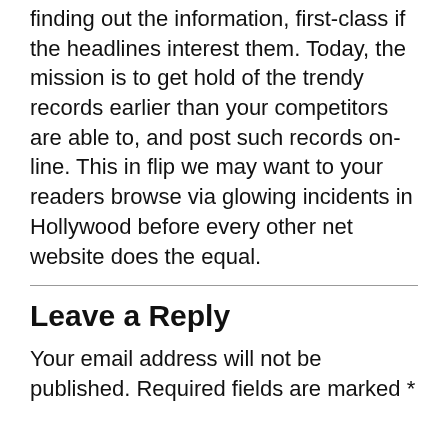finding out the information, first-class if the headlines interest them. Today, the mission is to get hold of the trendy records earlier than your competitors are able to, and post such records on-line. This in flip we may want to your readers browse via glowing incidents in Hollywood before every other net website does the equal.
Leave a Reply
Your email address will not be published. Required fields are marked *